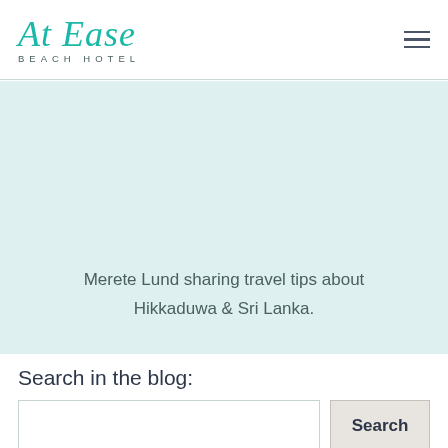At Ease Beach Hotel
Merete Lund sharing travel tips about Hikkaduwa & Sri Lanka.
Search in the blog: